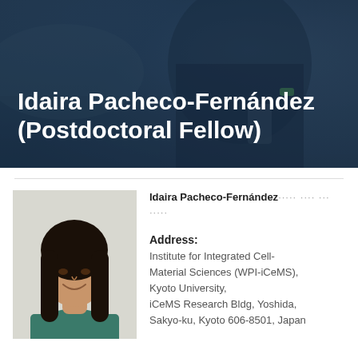[Figure (photo): Hero banner background showing a person outdoors in a dark athletic outfit, with a blue tinted overlay]
Idaira Pacheco-Fernández (Postdoctoral Fellow)
[Figure (photo): Headshot of a young woman with long dark hair wearing a teal/green top, smiling, against a light background]
Idaira Pacheco-Fernández····· ···· ··· ·····
Address:
Institute for Integrated Cell-Material Sciences (WPI-iCeMS), Kyoto University, iCeMS Research Bldg, Yoshida, Sakyo-ku, Kyoto 606-8501, Japan